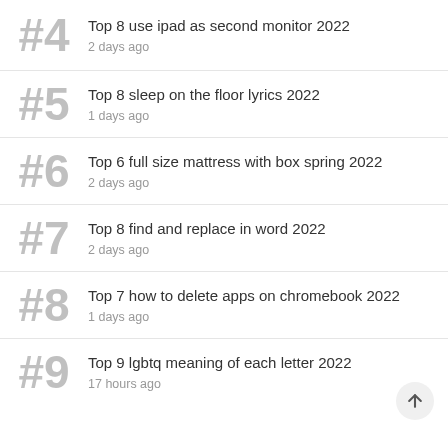#4 Top 8 use ipad as second monitor 2022
2 days ago
#5 Top 8 sleep on the floor lyrics 2022
1 days ago
#6 Top 6 full size mattress with box spring 2022
2 days ago
#7 Top 8 find and replace in word 2022
2 days ago
#8 Top 7 how to delete apps on chromebook 2022
1 days ago
#9 Top 9 lgbtq meaning of each letter 2022
17 hours ago